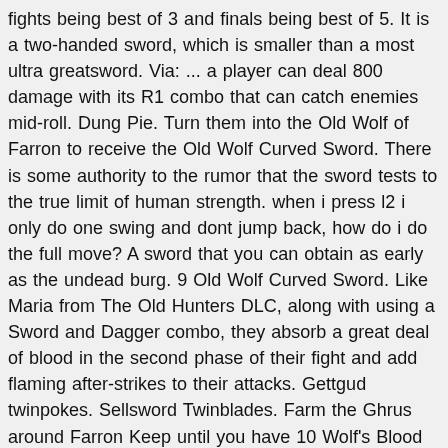fights being best of 3 and finals being best of 5. It is a two-handed sword, which is smaller than a most ultra greatsword. Via: ... a player can deal 800 damage with its R1 combo that can catch enemies mid-roll. Dung Pie. Turn them into the Old Wolf of Farron to receive the Old Wolf Curved Sword. There is some authority to the rumor that the sword tests to the true limit of human strength. when i press l2 i only do one swing and dont jump back, how do i do the full move? A sword that you can obtain as early as the undead burg. 9 Old Wolf Curved Sword. Like Maria from The Old Hunters DLC, along with using a Sword and Dagger combo, they absorb a great deal of blood in the second phase of their fight and add flaming after-strikes to their attacks. Gettgud twinpokes. Sellsword Twinblades. Farm the Ghrus around Farron Keep until you have 10 Wolf's Blood Swordgrass. ... Start with R1, if it hits press L2 then R2 for 3 hit true combo. Warp back to the Old Wolf of Farron bonfire and go up the tower with the elevator; ... you have Drawn Out True Strength 5 times with Yoel and then reload Firelink Shrine so that Yoel dies and Yuria appears. This